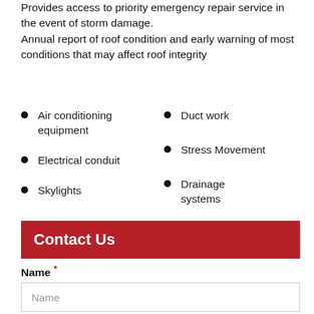Provides access to priority emergency repair service in the event of storm damage.
Annual report of roof condition and early warning of most conditions that may affect roof integrity
Air conditioning equipment
Duct work
Electrical conduit
Stress Movement
Skylights
Drainage systems
Contact Us
Name *
Name